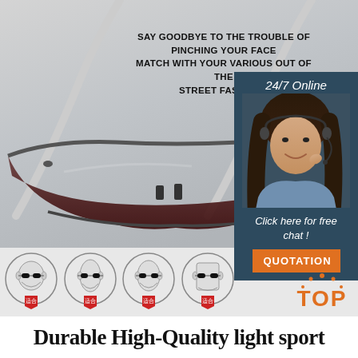[Figure (photo): Close-up bottom view of frameless sport sunglasses/eyeglasses showing the bridge and lens bottom edge against a grey background]
SAY GOODBYE TO THE TROUBLE OF PINCHING YOUR FACE MATCH WITH YOUR VARIOUS OUT OF THE STREET FASHIONS
[Figure (infographic): 24/7 Online customer service box with photo of woman with headset and 'Click here for free chat!' text with QUOTATION button]
[Figure (infographic): Four face type icons (round face, long face, oval face, square face) each showing a figure wearing sunglasses with a red 'suitable' tag]
ROUND FACE
LONG FACE
OVAL FACE
SQUARE FACE
Durable High-Quality light sport